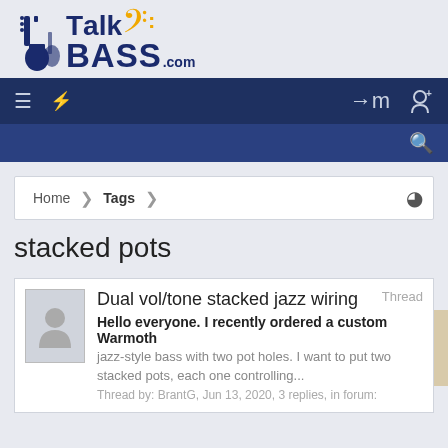[Figure (logo): TalkBASS.com logo with bass clef in gold and dark blue text]
Navigation bar with menu, lightning bolt, login and register icons
Search bar
Home > Tags
stacked pots
Dual vol/tone stacked jazz wiring
Hello everyone. I recently ordered a custom Warmoth jazz-style bass with two pot holes. I want to put two stacked pots, each one controlling...
Thread by: BrantG, Jun 13, 2020, 3 replies, in forum: